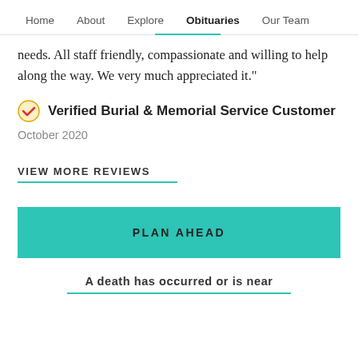Home   About   Explore   Obituaries   Our Team
needs. All staff friendly, compassionate and willing to help along the way. We very much appreciated it."
✅ Verified Burial & Memorial Service Customer
October 2020
VIEW MORE REVIEWS
PLAN AHEAD
A death has occurred or is near